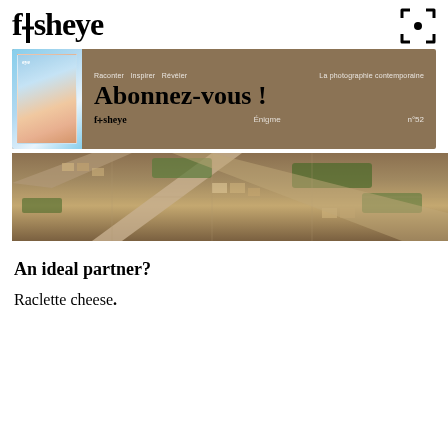fisheye
[Figure (photo): Fisheye magazine advertisement banner with tan/khaki background showing magazine cover on left and text 'Abonnez-vous!' in center. Tagline reads 'Raconter Inspirer Révéler' and 'La photographie contemporaine'. Bottom shows fisheye logo, 'Enigme', and 'n°52']
[Figure (photo): Aerial photograph of a suburban neighborhood showing streets, houses, trees, and a main road cutting diagonally through residential blocks]
An ideal partner?
Raclette cheese.